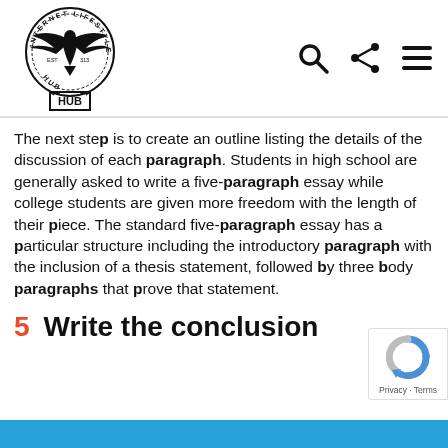[Figure (logo): Internet Lifestyle Hub logo with eagle and circular badge text]
The next step is to create an outline listing the details of the discussion of each paragraph. Students in high school are generally asked to write a five-paragraph essay while college students are given more freedom with the length of their piece. The standard five-paragraph essay has a particular structure including the introductory paragraph with the inclusion of a thesis statement, followed by three body paragraphs that prove that statement.
5  Write the conclusion
[Figure (logo): reCAPTCHA privacy badge with Privacy - Terms text]